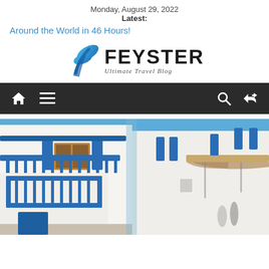Monday, August 29, 2022
Latest:
Around the World in 46 Hours!
[Figure (logo): Feyster Ultimate Travel Blog logo with blue feather/wing icon and bold text FEYSTER, subtitle: Ultimate Travel Blog]
[Figure (screenshot): Navigation bar with home icon, hamburger menu, search icon, and shuffle icon on dark background]
[Figure (photo): Photo of Greek island street scene with white buildings and blue railings/shutters, resembling Mykonos architecture]